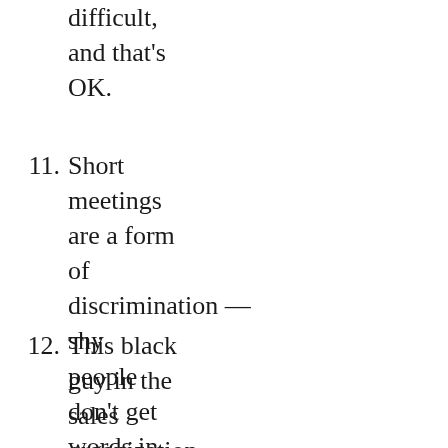difficult, and that's OK.
11. Short meetings are a form of discrimination — shy people don't get words in.
12. This black guy in the sales organization, super senior and